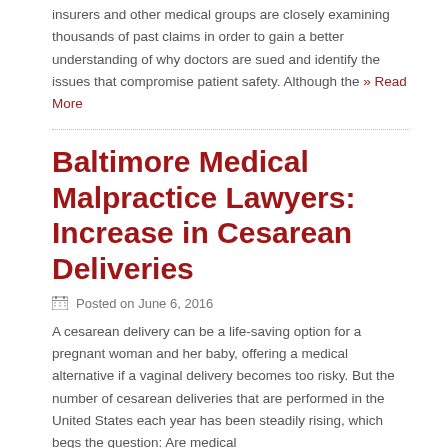insurers and other medical groups are closely examining thousands of past claims in order to gain a better understanding of why doctors are sued and identify the issues that compromise patient safety. Although the » Read More
Baltimore Medical Malpractice Lawyers: Increase in Cesarean Deliveries
Posted on June 6, 2016
A cesarean delivery can be a life-saving option for a pregnant woman and her baby, offering a medical alternative if a vaginal delivery becomes too risky. But the number of cesarean deliveries that are performed in the United States each year has been steadily rising, which begs the question: Are medical